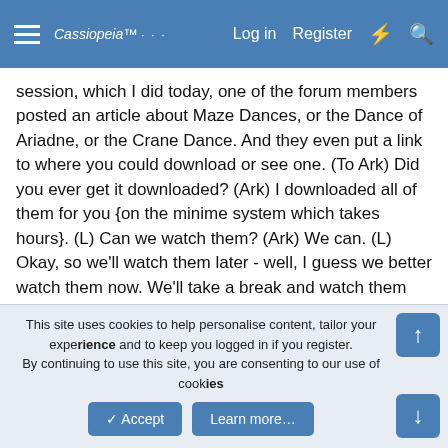Cassiopeia — Log in  Register
session, which I did today, one of the forum members posted an article about Maze Dances, or the Dance of Ariadne, or the Crane Dance. And they even put a link to where you could download or see one. (To Ark) Did you ever get it downloaded? (Ark) I downloaded all of them for you {on the minime system which takes hours}. (L) Can we watch them? (Ark) We can. (L) Okay, so we'll watch them later - well, I guess we better watch them now. We'll take a break and watch them before we ask about them. (Break to watch 5 dancing videos) (L) Ya'll still there?
A: Oh yes! That was inspiring, yes?
This site uses cookies to help personalise content, tailor your experience and to keep you logged in if you register.
By continuing to use this site, you are consenting to our use of cookies